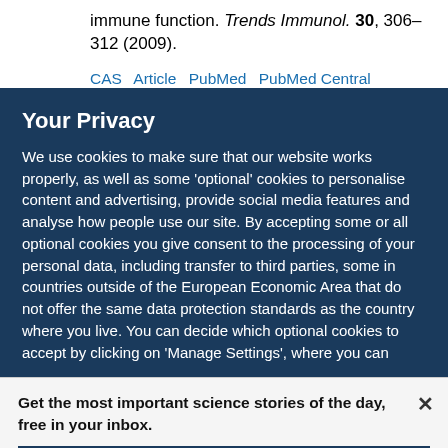immune function. Trends Immunol. 30, 306–312 (2009).
CAS   Article   PubMed   PubMed Central
Your Privacy
We use cookies to make sure that our website works properly, as well as some 'optional' cookies to personalise content and advertising, provide social media features and analyse how people use our site. By accepting some or all optional cookies you give consent to the processing of your personal data, including transfer to third parties, some in countries outside of the European Economic Area that do not offer the same data protection standards as the country where you live. You can decide which optional cookies to accept by clicking on 'Manage Settings', where you can
Get the most important science stories of the day, free in your inbox.
Sign up for Nature Briefing